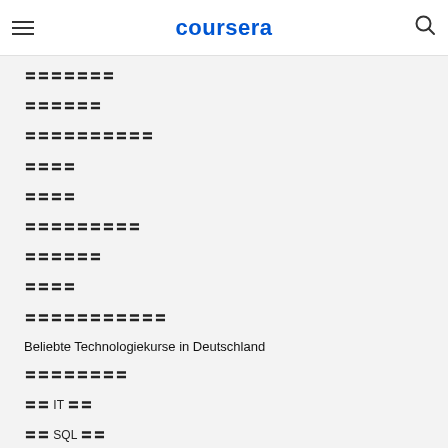coursera
〓〓〓〓〓〓〓
〓〓〓〓〓〓
〓〓〓〓〓〓〓〓〓〓
〓〓〓〓
〓〓〓〓
〓〓〓〓〓〓〓〓〓
〓〓〓〓〓〓
〓〓〓〓
〓〓〓〓〓〓〓〓〓〓〓
Beliebte Technologiekurse in Deutschland
〓〓〓〓〓〓〓〓
〓〓 IT 〓〓
〓〓 SQL 〓〓
〓〓〓〓〓〓〓〓
〓〓〓〓〓〓〓〓